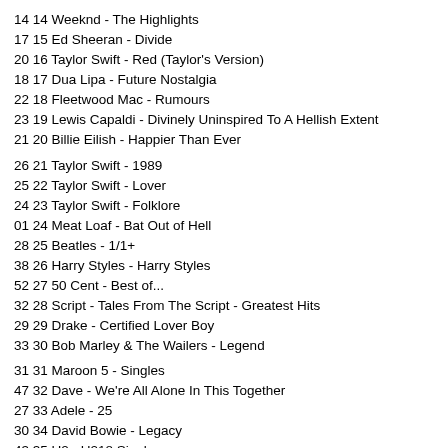14 14 Weeknd - The Highlights
17 15 Ed Sheeran - Divide
20 16 Taylor Swift - Red (Taylor's Version)
18 17 Dua Lipa - Future Nostalgia
22 18 Fleetwood Mac - Rumours
23 19 Lewis Capaldi - Divinely Uninspired To A Hellish Extent
21 20 Billie Eilish - Happier Than Ever
26 21 Taylor Swift - 1989
25 22 Taylor Swift - Lover
24 23 Taylor Swift - Folklore
01 24 Meat Loaf - Bat Out of Hell
28 25 Beatles - 1/1+
38 26 Harry Styles - Harry Styles
52 27 50 Cent - Best of...
32 28 Script - Tales From The Script - Greatest Hits
29 29 Drake - Certified Lover Boy
33 30 Bob Marley & The Wailers - Legend
31 31 Maroon 5 - Singles
47 32 Dave - We're All Alone In This Together
27 33 Adele - 25
30 34 David Bowie - Legacy
43 35 U2 - U218 Singles
36 36 Taylor Swift - Evermore
37 37 Arctic Monkeys - AM
41 38 Hozier - Hozier
34 39 Justin Bieber - Justice
40 40 Bruce Springsteen - Greatest Hits